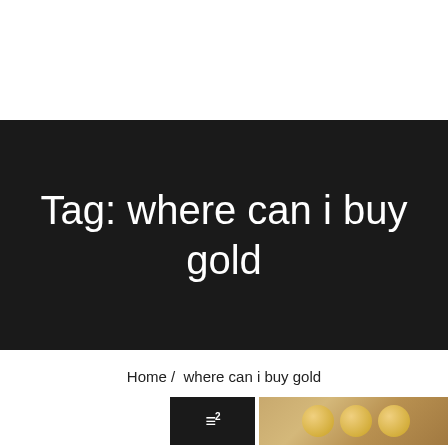Tag: where can i buy gold
Home /  where can i buy gold
[Figure (photo): Bottom strip showing a black thumbnail with a stylized icon and a photo thumbnail of gold coins on a dark background]